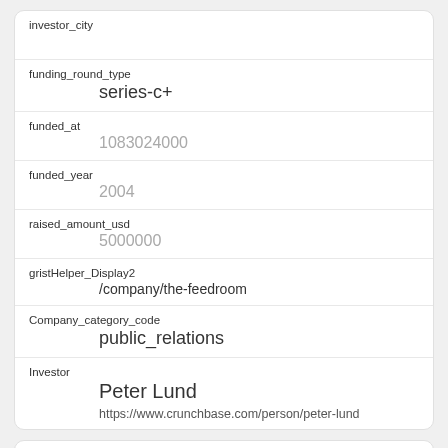| Field | Value |
| --- | --- |
| investor_city |  |
| funding_round_type | series-c+ |
| funded_at | 1083024000 |
| funded_year | 2004 |
| raised_amount_usd | 5000000 |
| gristHelper_Display2 | /company/the-feedroom |
| Company_category_code | public_relations |
| Investor | Peter Lund
https://www.crunchbase.com/person/peter-lund |
| Field | Value |
| --- | --- |
| id | 89 |